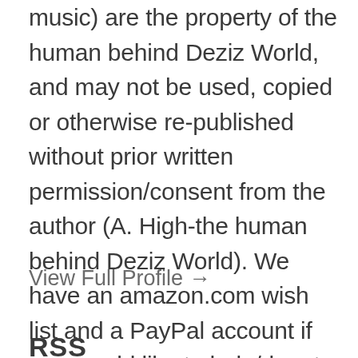music) are the property of the human behind Deziz World, and may not be used, copied or otherwise re-published without prior written permission/consent from the author (A. High-the human behind Deziz World). We have an amazon.com wish list and a PayPal account if you would like to help/donate to us.
View Full Profile →
RSS